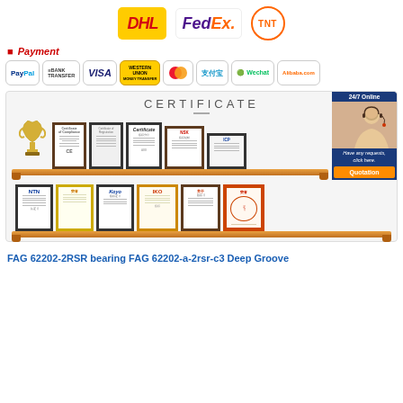[Figure (logo): DHL, FedEx, TNT shipping company logos]
Payment
[Figure (infographic): Payment method logos: PayPal, Bank Transfer, VISA, Western Union, MasterCard, Alipay, Wechat, Alibaba.com]
[Figure (photo): CERTIFICATE section showing two shelves of framed certificates/awards and a trophy, with a customer service representative banner on the right]
FAG 62202-2RSR bearing FAG 62202-a-2rsr-c3 Deep Groove